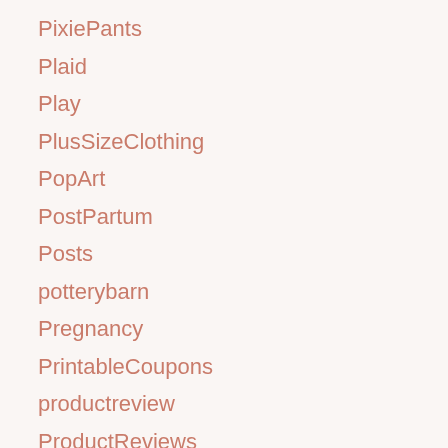PixiePants
Plaid
Play
PlusSizeClothing
PopArt
PostPartum
Posts
potterybarn
Pregnancy
PrintableCoupons
productreview
ProductReviews
ProductSafety
ProfessionalWorkingMoms
ProperCookingPractice